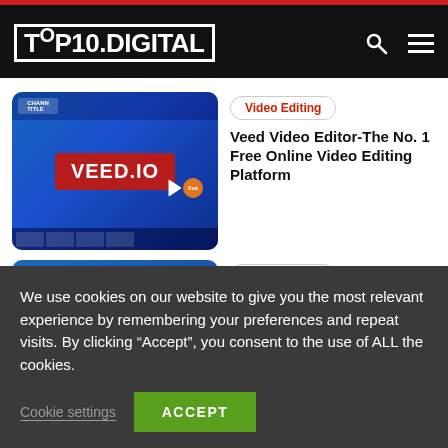TOP10.DIGITAL
[Figure (screenshot): VEED.IO video editor interface screenshot with blue background and red VEED.IO logo banner]
Video Editing
Veed Video Editor-The No. 1 Free Online Video Editing Platform
[Figure (screenshot): FlexClip Online Video Editor interface screenshot with blue-purple gradient background]
Video Editing
Flexclip Video Editor – The Best Free Online
We use cookies on our website to give you the most relevant experience by remembering your preferences and repeat visits. By clicking “Accept”, you consent to the use of ALL the cookies.
Cookie settings   ACCEPT